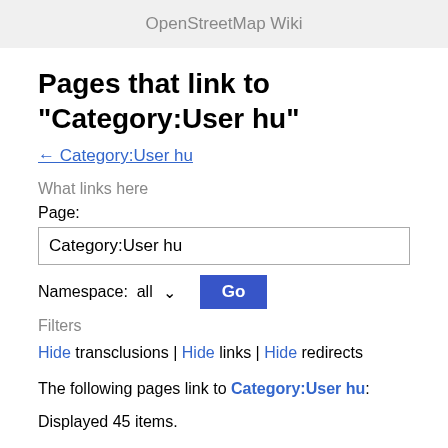OpenStreetMap Wiki
Pages that link to "Category:User hu"
← Category:User hu
What links here
Page:
Category:User hu
Namespace:  all  Go
Filters
Hide transclusions | Hide links | Hide redirects
The following pages link to Category:User hu:
Displayed 45 items.